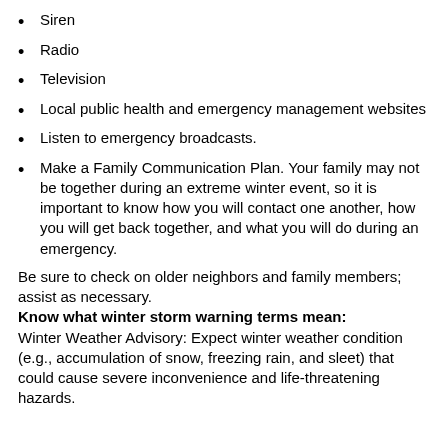Siren
Radio
Television
Local public health and emergency management websites
Listen to emergency broadcasts.
Make a Family Communication Plan. Your family may not be together during an extreme winter event, so it is important to know how you will contact one another, how you will get back together, and what you will do during an emergency.
Be sure to check on older neighbors and family members; assist as necessary.
Know what winter storm warning terms mean:
Winter Weather Advisory: Expect winter weather condition (e.g., accumulation of snow, freezing rain, and sleet) that could cause severe inconvenience and life-threatening hazards.